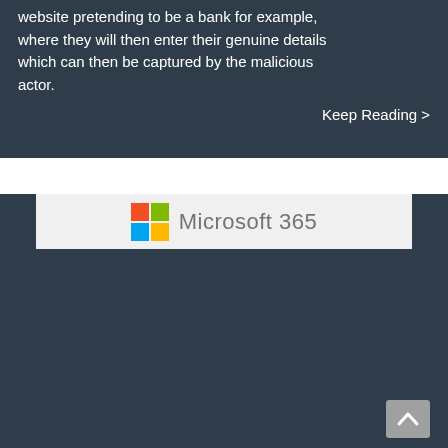website pretending to be a bank for example, where they will then enter their genuine details which can then be captured by the malicious actor.
Keep Reading >
[Figure (logo): Microsoft 365 logo with colorful Windows-style four-square icon and grey text reading 'Microsoft 365']